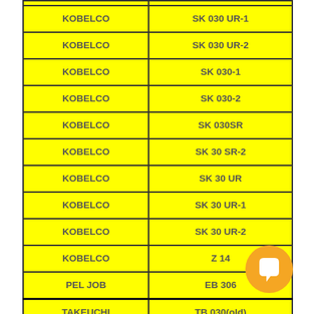| KOBELCO | SK 030 UR-1 |
| KOBELCO | SK 030 UR-2 |
| KOBELCO | SK 030-1 |
| KOBELCO | SK 030-2 |
| KOBELCO | SK 030SR |
| KOBELCO | SK 30 SR-2 |
| KOBELCO | SK 30 UR |
| KOBELCO | SK 30 UR-1 |
| KOBELCO | SK 30 UR-2 |
| KOBELCO | Z 14 |
| PEL JOB | EB 306 |
| TAKEUCHI | TB 030(old) |
| TAKEUCHI | TB 30 UR |
[Figure (other): Orange chat/messenger bubble icon in bottom right corner]